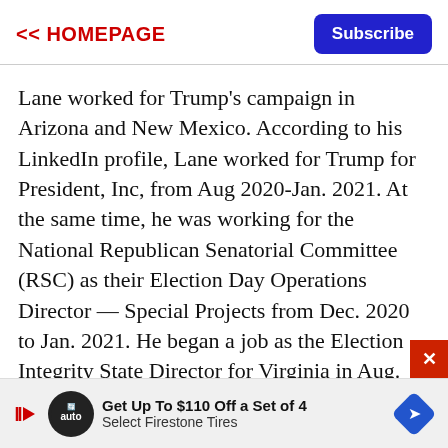<< HOMEPAGE | Subscribe
Lane worked for Trump's campaign in Arizona and New Mexico. According to his LinkedIn profile, Lane worked for Trump for President, Inc, from Aug 2020-Jan. 2021. At the same time, he was working for the National Republican Senatorial Committee (RSC) as their Election Day Operations Director — Special Projects from Dec. 2020 to Jan. 2021. He began a job as the Election Integrity State Director for Virginia in Aug. 2021.
Despite being employed by the Republican Party in Dec. 2020, someone named Thomas Lane who
[Figure (other): Advertisement banner: Get Up To $110 Off a Set of 4 Select Firestone Tires, with auto logo and direction sign icon]